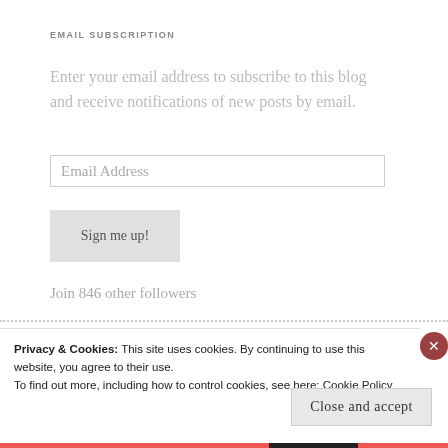EMAIL SUBSCRIPTION
Enter your email address to subscribe to this blog and receive notifications of new posts by email.
Email Address
Sign me up!
Join 846 other followers
Privacy & Cookies: This site uses cookies. By continuing to use this website, you agree to their use.
To find out more, including how to control cookies, see here: Cookie Policy
Close and accept